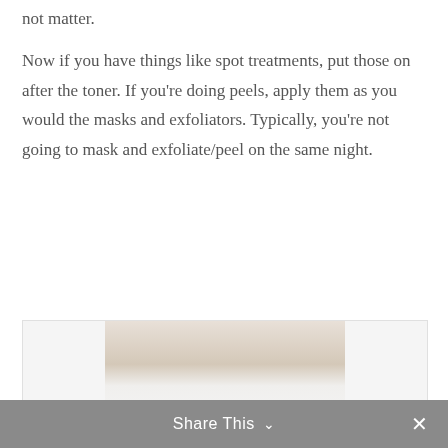not matter.
Now if you have things like spot treatments, put those on after the toner. If you're doing peels, apply them as you would the masks and exfoliators. Typically, you're not going to mask and exfoliate/peel on the same night.
[Figure (photo): A woman with curly dark hair wearing a white shirt, photographed indoors]
Share This ∨  ✕